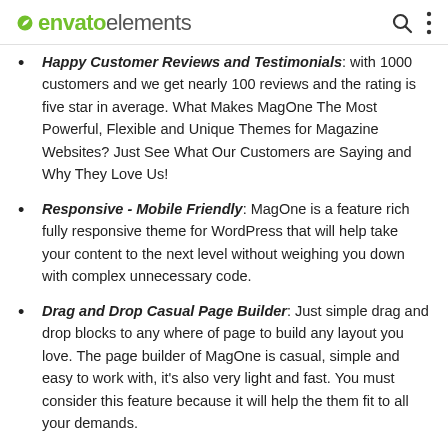envato elements
Happy Customer Reviews and Testimonials: with 1000 customers and we get nearly 100 reviews and the rating is five star in average. What Makes MagOne The Most Powerful, Flexible and Unique Themes for Magazine Websites? Just See What Our Customers are Saying and Why They Love Us!
Responsive - Mobile Friendly: MagOne is a feature rich fully responsive theme for WordPress that will help take your content to the next level without weighing you down with complex unnecessary code.
Drag and Drop Casual Page Builder: Just simple drag and drop blocks to any where of page to build any layout you love. The page builder of MagOne is casual, simple and easy to work with, it's also very light and fast. You must consider this feature because it will help the them fit to all your demands.
Multiple Flexible Header Layouts: You can select header